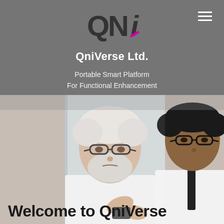[Figure (logo): QNi logo — stylized letters Q, N, i with a magenta/pink accent mark on the i]
QniVerse Ltd.
Portable Smart Platform
For Functional Enhancement
[Figure (photo): Two men in conversation — an elderly white-haired man wearing glasses and a younger dark-skinned man wearing glasses and a dark tie, both in white shirts, appearing to be in a medical or professional consultation setting]
Welcome to QniVerse